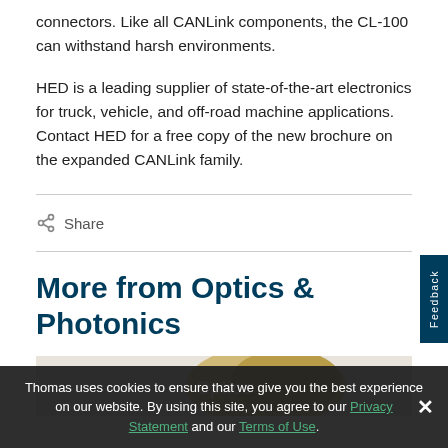connectors. Like all CANLink components, the CL-100 can withstand harsh environments.
HED is a leading supplier of state-of-the-art electronics for truck, vehicle, and off-road machine applications. Contact HED for a free copy of the new brochure on the expanded CANLink family.
Share
More from Optics & Photonics
[Figure (photo): Partial view of a product image related to Optics & Photonics section]
Thomas uses cookies to ensure that we give you the best experience on our website. By using this site, you agree to our Privacy Statement and our Terms of Use.